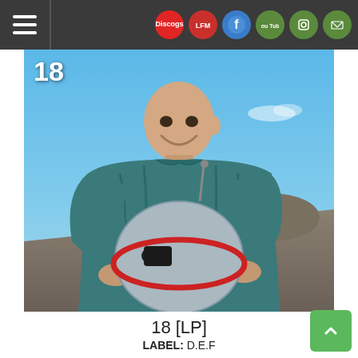Navigation bar with hamburger menu and social icons: Discogs, Last.fm, Facebook, YouTube, Instagram, Email
[Figure (photo): A bald smiling man in a teal/blue puffer jacket holding a robot head/helmet prop with red trim and oval eyes. Background is a barren desert landscape under a clear blue sky. Number '18' appears in white in the top-left corner of the image.]
18 [LP]
LABEL: D.E.F